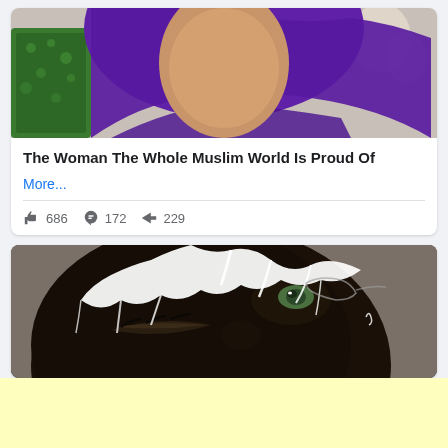[Figure (photo): Woman wearing purple hijab and green lace top, upper body portrait]
The Woman The Whole Muslim World Is Proud Of
More...
👍 686  💬 172  ➤ 229
[Figure (photo): Close-up of a face with dramatic white body paint/makeup creating web-like patterns over dark skin, with striking eyes]
[Figure (other): Light yellow advertisement banner]